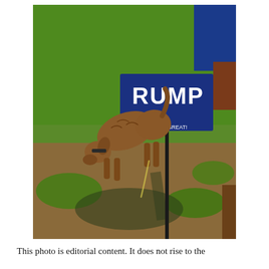[Figure (photo): A dog urinating on a Trump 2020 campaign yard sign ('KEEP AMERICA GREAT! 2020') planted in a lawn. The dog is brown and mangy-looking, caught mid-action next to the blue campaign sign. The shadow of the dog and sign are visible on the ground.]
This photo is editorial content. It does not rise to the